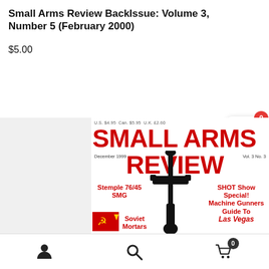Small Arms Review BackIssue: Volume 3, Number 5 (February 2000)
$5.00
[Figure (screenshot): Add to cart button with shopping cart icon and badge showing 0]
[Figure (photo): Small Arms Review magazine cover showing December 1999 Vol. 3 No. 3 issue with SMG firearm on cover, featuring articles on Stemple 76/45 SMG, SHOT Show Special, Machine Gunners Guide To Las Vegas, Soviet Mortars]
[Figure (other): Bottom navigation bar with user account icon, search icon, and shopping cart icon with badge showing 0]